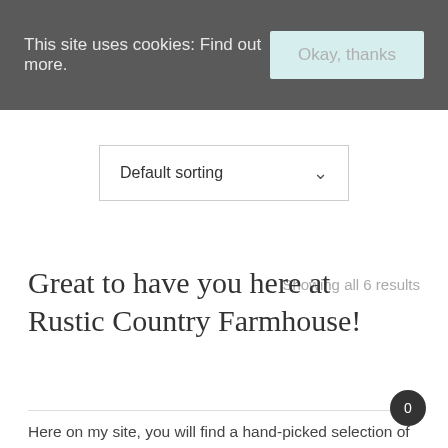This site uses cookies: Find out more. Okay, thanks
Default sorting
Showing all 6 results
Great to have you here at Rustic Country Farmhouse!
Here on my site, you will find a hand-picked selection of the finest rustic and modern farmhouse decor. Come back often for regularly added “Favorites of the Week” and “Best Selling” farmhouse decor items, which will help you pick the right products to make